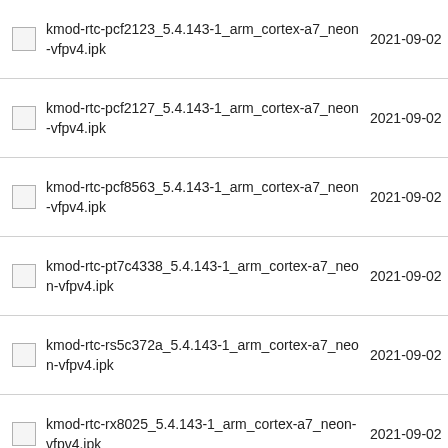kmod-rtc-pcf2123_5.4.143-1_arm_cortex-a7_neon-vfpv4.ipk   2021-09-02
kmod-rtc-pcf2127_5.4.143-1_arm_cortex-a7_neon-vfpv4.ipk   2021-09-02
kmod-rtc-pcf8563_5.4.143-1_arm_cortex-a7_neon-vfpv4.ipk   2021-09-02
kmod-rtc-pt7c4338_5.4.143-1_arm_cortex-a7_neon-vfpv4.ipk   2021-09-02
kmod-rtc-rs5c372a_5.4.143-1_arm_cortex-a7_neon-vfpv4.ipk   2021-09-02
kmod-rtc-rx8025_5.4.143-1_arm_cortex-a7_neon-vfpv4.ipk   2021-09-02
kmod-rtc-s35390a_5.4.143-1_arm_cortex-a7_neon-vfpv4.ipk   2021-09-02